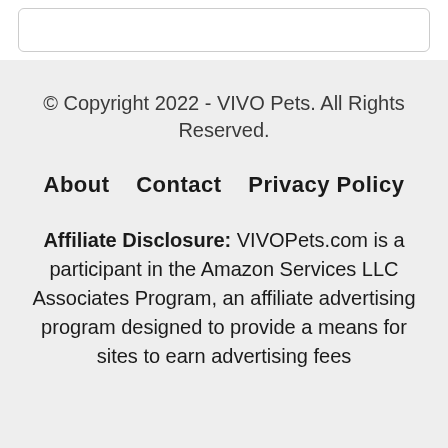© Copyright 2022 - VIVO Pets. All Rights Reserved.
About   Contact   Privacy Policy
Affiliate Disclosure: VIVOPets.com is a participant in the Amazon Services LLC Associates Program, an affiliate advertising program designed to provide a means for sites to earn advertising fees